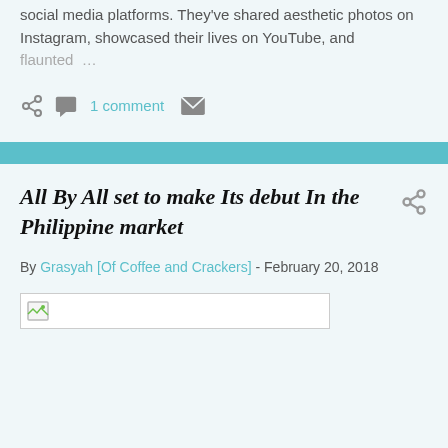social media platforms. They've shared aesthetic photos on Instagram, showcased their lives on YouTube, and flaunted …
[Figure (infographic): Action bar with share icon, comment bubble icon, '1 comment' link, and email/envelope icon]
All By All set to make Its debut In the Philippine market
By Grasyah [Of Coffee and Crackers] - February 20, 2018
[Figure (photo): Broken image placeholder box]